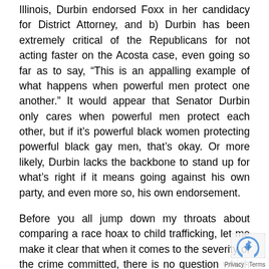Illinois, Durbin endorsed Foxx in her candidacy for District Attorney, and b) Durbin has been extremely critical of the Republicans for not acting faster on the Acosta case, even going so far as to say, “This is an appalling example of what happens when powerful men protect one another.” It would appear that Senator Durbin only cares when powerful men protect each other, but if it’s powerful black women protecting powerful black gay men, that’s okay. Or more likely, Durbin lacks the backbone to stand up for what’s right if it means going against his own party, and even more so, his own endorsement.
Before you all jump down my throats about comparing a race hoax to child trafficking, let me make it clear that when it comes to the severity of the crime committed, there is no question which one is worse. That’s not the point. It was never the point. The issue is about the double standard Dick Durbin is professing here. Regarding the Acosta situation, he stated, “It reaches a point where they don’t want to put up with it anymore. And there’s a lot of publicity in this.” That exact sentiment could have been said about